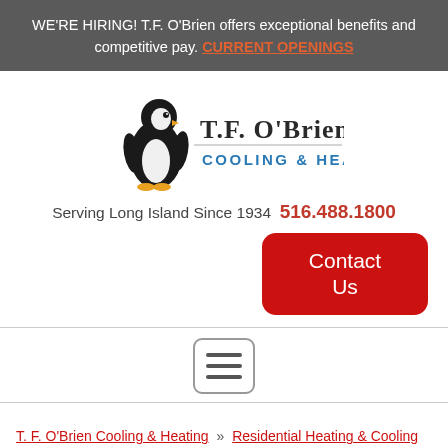WE'RE HIRING! T.F. O'Brien offers exceptional benefits and competitive pay. CURRENT OPENINGS
[Figure (logo): T.F. O'Brien Cooling & Heating logo with penguin illustration]
Serving Long Island Since 1934  516.488.1800
[Figure (other): Contact Us button (red rounded rectangle)]
[Figure (other): Hamburger menu icon (three horizontal lines in a rounded square border)]
T. F. O'Brien Cooling & Heating » Residential Heating & Cooling » Comfort Products